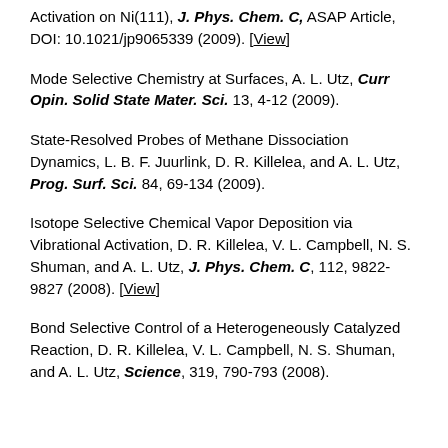Activation on Ni(111), J. Phys. Chem. C, ASAP Article, DOI: 10.1021/jp9065339 (2009). [View]
Mode Selective Chemistry at Surfaces, A. L. Utz, Curr Opin. Solid State Mater. Sci. 13, 4-12 (2009).
State-Resolved Probes of Methane Dissociation Dynamics, L. B. F. Juurlink, D. R. Killelea, and A. L. Utz, Prog. Surf. Sci. 84, 69-134 (2009).
Isotope Selective Chemical Vapor Deposition via Vibrational Activation, D. R. Killelea, V. L. Campbell, N. S. Shuman, and A. L. Utz, J. Phys. Chem. C, 112, 9822-9827 (2008). [View]
Bond Selective Control of a Heterogeneously Catalyzed Reaction, D. R. Killelea, V. L. Campbell, N. S. Shuman, and A. L. Utz, Science, 319, 790-793 (2008).